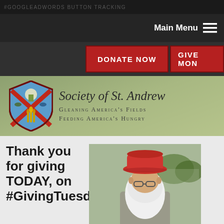#GOOGLEADWORDS BUTTON TRACKING
Main Menu
DONATE NOW | GIVE MON
[Figure (logo): Society of St. Andrew shield logo with cross, tree, and crops]
Society of St. Andrew
Gleaning America's Fields Feeding America's Hungry
Thank you for giving TODAY, on #GivingTuesday!
[Figure (photo): Elderly man with large white beard wearing a red fedora hat, outdoors]